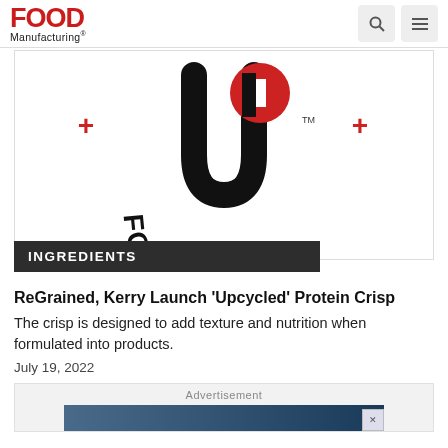FOOD Manufacturing
[Figure (logo): UP Foods Inc logo — large stylized U and P letters in black and red, with 'FOODS INC' curved text below, red plus signs on sides, TM mark. Below the logo is a dark banner reading 'INGREDIENTS'.]
ReGrained, Kerry Launch 'Upcycled' Protein Crisp
The crisp is designed to add texture and nutrition when formulated into products.
July 19, 2022
Advertisement